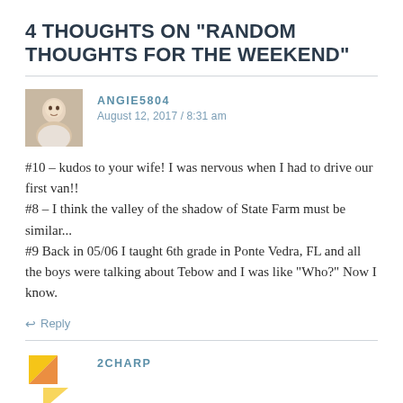4 THOUGHTS ON “RANDOM THOUGHTS FOR THE WEEKEND”
ANGIE5804
August 12, 2017 / 8:31 am
#10 – kudos to your wife! I was nervous when I had to drive our first van!!
#8 – I think the valley of the shadow of State Farm must be similar...
#9 Back in 05/06 I taught 6th grade in Ponte Vedra, FL and all the boys were talking about Tebow and I was like “Who?” Now I know.
← Reply
2CHARP